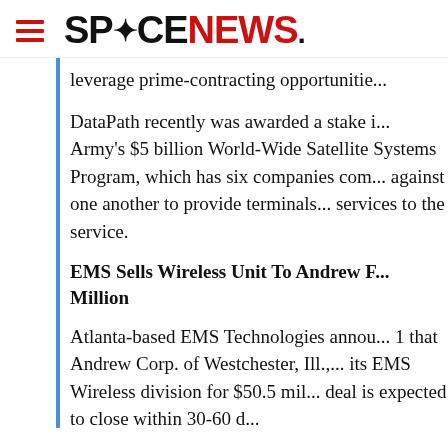SPACENEWS.
leverage prime-contracting opportunities.
DataPath recently was awarded a stake in the Army's $5 billion World-Wide Satellite Systems Program, which has six companies competing against one another to provide terminals and services to the service.
EMS Sells Wireless Unit To Andrew For $50.5 Million
Atlanta-based EMS Technologies announced Oct. 1 that Andrew Corp. of Westchester, Ill., acquired its EMS Wireless division for $50.5 million. The deal is expected to close within 30-60 days, pending the satisfaction of closing conditions.